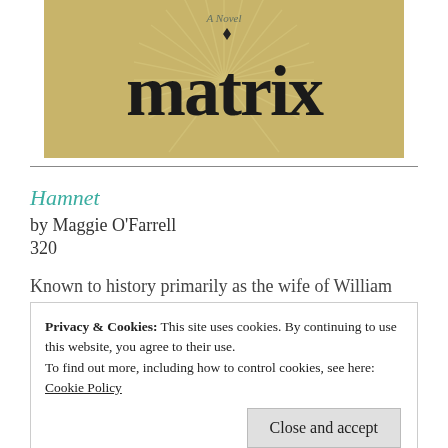[Figure (photo): Book cover of 'Matrix: A Novel' with stylized text on a sunburst background]
Hamnet
by Maggie O'Farrell
320
Known to history primarily as the wife of William Shakespeare, Anne or Agnes Hathaway is largely
Privacy & Cookies: This site uses cookies. By continuing to use this website, you agree to their use.
To find out more, including how to control cookies, see here: Cookie Policy
Close and accept
meaningless, and even day-to-day duties can